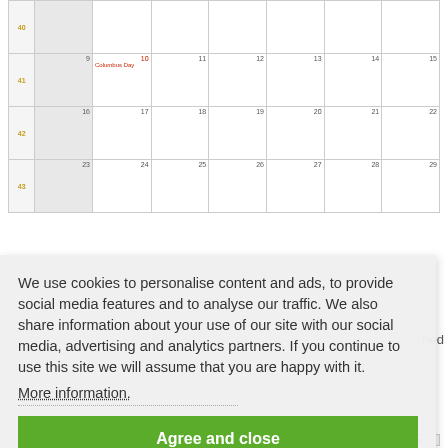[Figure (screenshot): Partial calendar view showing weeks 40-43 with dates 9-29, October. Columbus Day highlighted in red on date 10.]
We use cookies to personalise content and ads, to provide social media features and to analyse our traffic. We also share information about your use of our site with our social media, advertising and analytics partners. If you continue to use this site we will assume that you are happy with it.
More information.
Agree and close
[Figure (screenshot): Partial calendar header row showing: Week, Sunday, Monday, Tuesday, Wednesday, Thursday, Friday, Saturday]